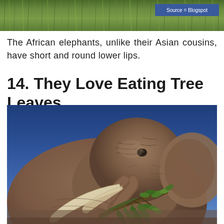[Figure (photo): Partial top image showing green grass/savanna vegetation with a blue 'Source = Blogspot' badge in the upper right corner]
The African elephants, unlike their Asian cousins, have short and round lower lips.
14. They Love Eating Tree Leaves
[Figure (photo): Close-up photograph of an African elephant eating tree branches/leaves against a blue sky background. The elephant has visible tusks and is holding leafy branches in its trunk/mouth.]